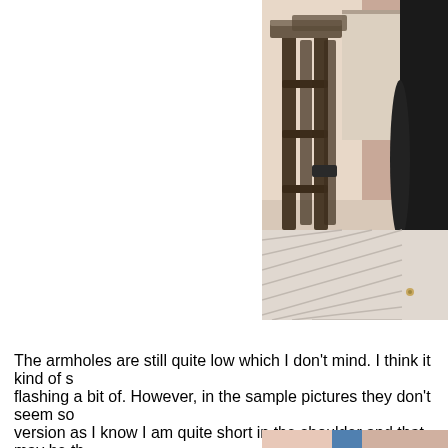[Figure (photo): Photo showing a person wearing a black dress/outfit standing near a wooden bar stool on a striped floor. Only the right portion of the image is visible. The background shows a wall. The person is on the right edge.]
The armholes are still quite low which I don't mind. I think it kind of s... flashing a bit of. However, in the sample pictures they don't seem so... version as I know I am quite short in the shoulder and that may be th... the straps until you've basically completed the top so I recommend (
[Figure (photo): Bottom portion of another photo, partially visible, showing what appears to be an interior/room with pink and blue tones.]